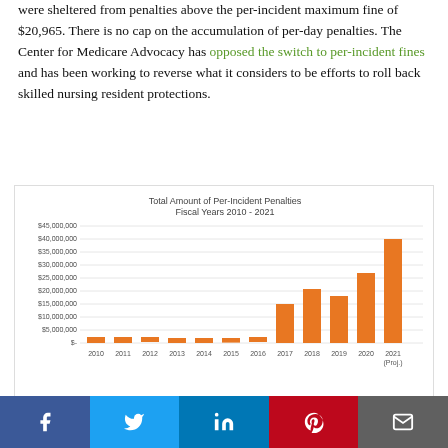were sheltered from penalties above the per-incident maximum fine of $20,965. There is no cap on the accumulation of per-day penalties. The Center for Medicare Advocacy has opposed the switch to per-incident fines and has been working to reverse what it considers to be efforts to roll back skilled nursing resident protections.
[Figure (bar-chart): Total Amount of Per-Incident Penalties Fiscal Years 2010 - 2021]
Social share bar: Facebook, Twitter, LinkedIn, Pinterest, Email